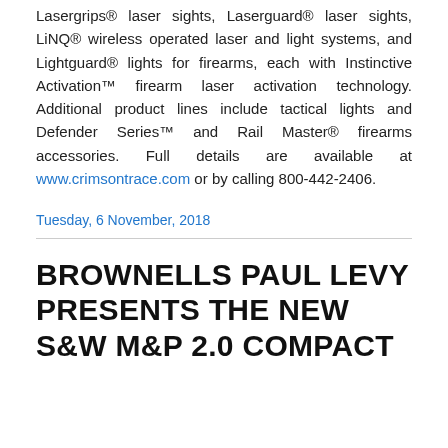Lasergrips® laser sights, Laserguard® laser sights, LiNQ® wireless operated laser and light systems, and Lightguard® lights for firearms, each with Instinctive Activation™ firearm laser activation technology. Additional product lines include tactical lights and Defender Series™ and Rail Master® firearms accessories. Full details are available at www.crimsontrace.com or by calling 800-442-2406.
Tuesday, 6 November, 2018
BROWNELLS PAUL LEVY PRESENTS THE NEW S&W M&P 2.0 COMPACT